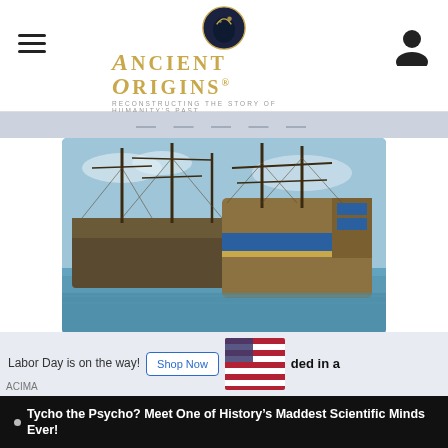Ancient Origins — Reconstructing the story of humanity's past
[Figure (photo): A large historic tall ship (HM Bark Endeavour replica) photographed at sea, showing wooden hull and masts with rigging.]
Are Sea Creatures Really Eating Captain Cook's “Endeavour”?
Headlines read “Shipworms threaten to destroy Captain Cook’s HM Bark Endeavour,” which was wrecked off the US east coast in the late eighteenth century.
Labor Day is on the way! Shop Now ACIMA
ded in a
Tycho the Psycho? Meet One of History’s Maddest Scientific Minds Ever!